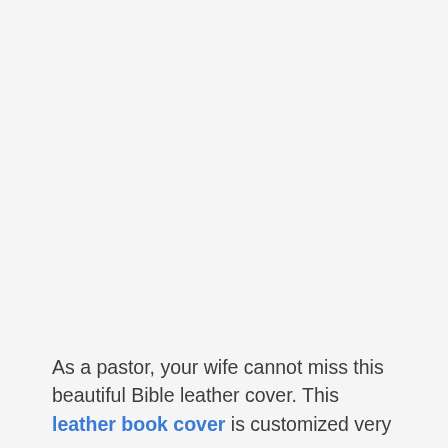As a pastor, your wife cannot miss this beautiful Bible leather cover. This leather book cover is customized very